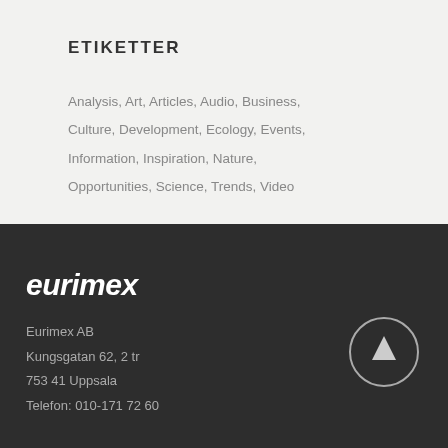ETIKETTER
Analysis, Art, Articles, Audio, Business, Culture, Development, Ecology, Events, Information, Inspiration, Nature, Opportunities, Science, Trends, Video
[Figure (logo): eurimex logo in white italic bold text on dark background]
Eurimex AB
Kungsgatan 62, 2 tr
753 41 Uppsala
Telefon: 010-171 72 60